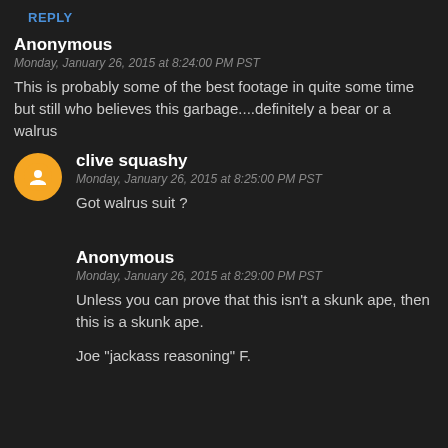REPLY
Anonymous
Monday, January 26, 2015 at 8:24:00 PM PST
This is probably some of the best footage in quite some time but still who believes this garbage....definitely a bear or a walrus
clive squashy
Monday, January 26, 2015 at 8:25:00 PM PST
Got walrus suit ?
Anonymous
Monday, January 26, 2015 at 8:29:00 PM PST
Unless you can prove that this isn't a skunk ape, then this is a skunk ape.
Joe "jackass reasoning" F.